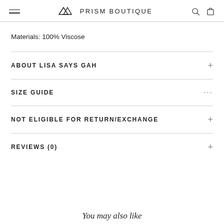⌂ PRISM BOUTIQUE
Materials: 100% Viscose
ABOUT LISA SAYS GAH
SIZE GUIDE
NOT ELIGIBLE FOR RETURN/EXCHANGE
REVIEWS (0)
You may also like